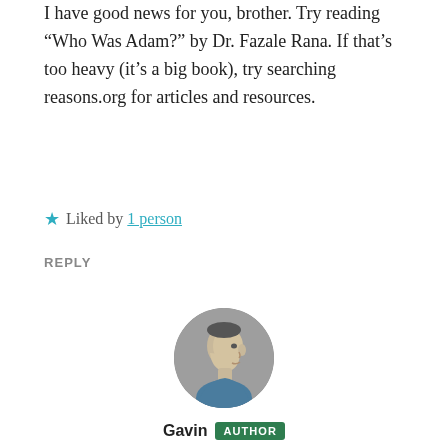I have good news for you, brother. Try reading “Who Was Adam?” by Dr. Fazale Rana. If that’s too heavy (it’s a big book), try searching reasons.org for articles and resources.
★ Liked by 1 person
REPLY
[Figure (photo): Circular avatar photo of Gavin, showing a man in profile view]
Gavin AUTHOR
March 19, 2017 at 7:26 pm
Absolutely! The genetic evidence need not, and indeed from my vantage point could not, prove that a literal Adam and Eve did not exist. The debate centers more on whether there were hominins leading up to this point, and whether Adam and Eve were the only human beings